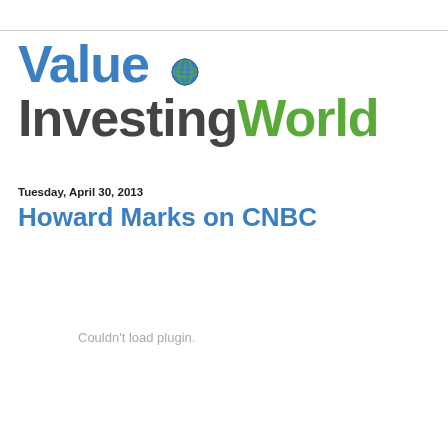[Figure (logo): Value Investing World logo with blue 'Value', dark gray 'Investing', globe icon, and green 'World' text]
Tuesday, April 30, 2013
Howard Marks on CNBC
Couldn't load plugin.